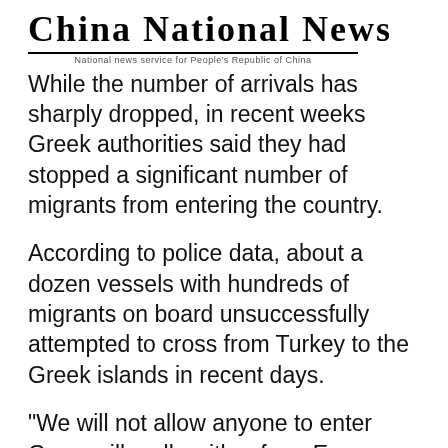China National News
National news service for People's Republic of China
While the number of arrivals has sharply dropped, in recent weeks Greek authorities said they had stopped a significant number of migrants from entering the country.
According to police data, about a dozen vessels with hundreds of migrants on board unsuccessfully attempted to cross from Turkey to the Greek islands in recent days.
"We will not allow anyone to enter Greece illegally, either from Evros or through the islands. Let everyone realize this," said Civil Protection Minister Takis Theodorikakos on TV channel ANT1.
Meanwhile, Turkish President Tayyip Erdogan has accused the Greek prime minister of blocking also...